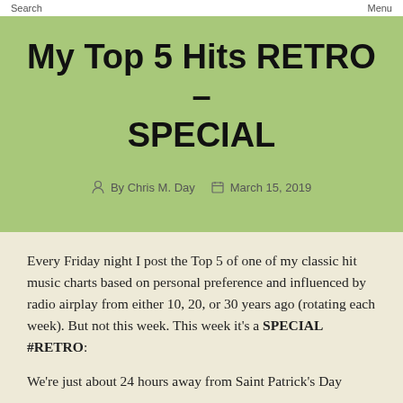Search   Menu
My Top 5 Hits RETRO – SPECIAL
By Chris M. Day   March 15, 2019
Every Friday night I post the Top 5 of one of my classic hit music charts based on personal preference and influenced by radio airplay from either 10, 20, or 30 years ago (rotating each week). But not this week. This week it's a SPECIAL #RETRO:
We're just about 24 hours away from Saint Patrick's Day